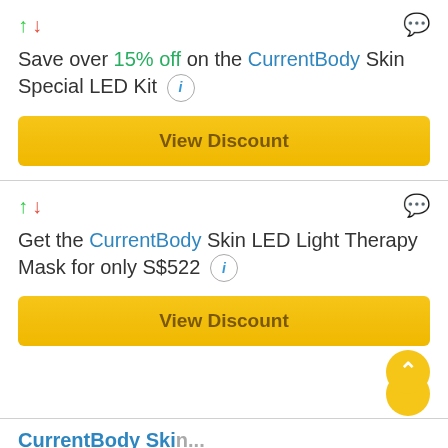Save over 15% off on the CurrentBody Skin Special LED Kit
View Discount
Get the CurrentBody Skin LED Light Therapy Mask for only S$522
View Discount
CurrentBody Skin...